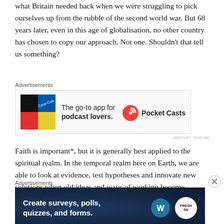what Britain needed back when we were struggling to pick ourselves up from the rubble of the second world war. But 68 years later, even in this age of globalisation, no other country has chosen to copy our approach. Not one. Shouldn't that tell us something?
[Figure (infographic): Pocket Casts advertisement: The go-to app for podcast lovers.]
Faith is important*, but it is generally best applied to the spiritual realm. In the temporal realm here on Earth, we are able to look at evidence, test hypotheses and innovate new solutions when old ideas and ways of working become obsolete. Nowhere is this more true than the fiel
[Figure (infographic): Advertisement: Create surveys, polls, quizzes, and forms. WordPress and FreshSN logos.]